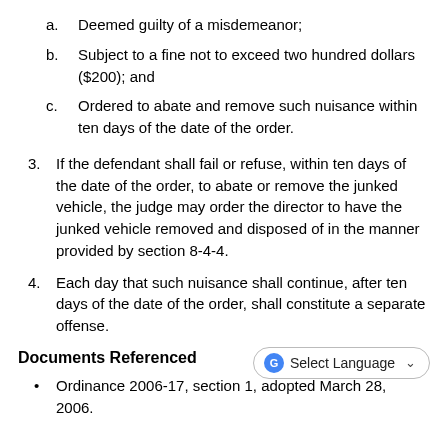a. Deemed guilty of a misdemeanor;
b. Subject to a fine not to exceed two hundred dollars ($200); and
c. Ordered to abate and remove such nuisance within ten days of the date of the order.
3. If the defendant shall fail or refuse, within ten days of the date of the order, to abate or remove the junked vehicle, the judge may order the director to have the junked vehicle removed and disposed of in the manner provided by section 8-4-4.
4. Each day that such nuisance shall continue, after ten days of the date of the order, shall constitute a separate offense.
Documents Referenced
Ordinance 2006-17, section 1, adopted March 28, 2006.